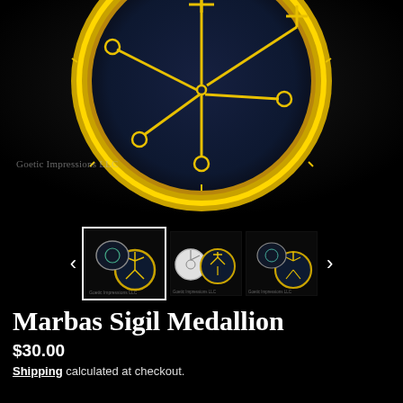[Figure (photo): Close-up photo of a dark blue/black enamel medallion with gold border ring and a gold sigil (Marbas sigil) design on dark textured black background. Watermark reads 'Goetic Impressions LLC'.]
[Figure (photo): Three thumbnail product images showing the Marbas Sigil Medallion. First (selected) shows open locket with sigil inside. Second shows two medallions side by side. Third shows another open locket view.]
Marbas Sigil Medallion
$30.00
Shipping calculated at checkout.